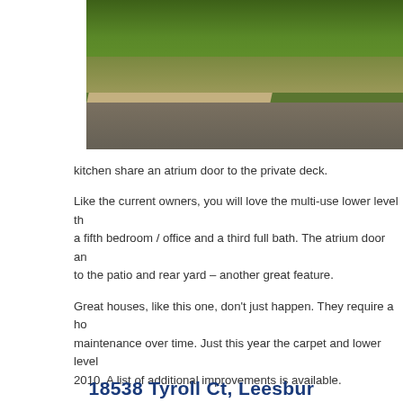[Figure (photo): Exterior photo showing green lawn, sidewalk, and road in front of a property]
kitchen share an atrium door to the private deck.
Like the current owners, you will love the multi-use lower level th a fifth bedroom / office and a third full bath. The atrium door an to the patio and rear yard – another great feature.
Great houses, like this one, don't just happen. They require a ho maintenance over time. Just this year the carpet and lower level 2010. A list of additional improvements is available.
Potomac Station's low monthly HOA dues of $64 provide a lot o pool (included in HOA fee), seven great playground areas, a bask
Does this sound like a place you would like to call home?
Contact me with any questions or to schedule a private showing
18538 Tyroll Ct, Leesbur